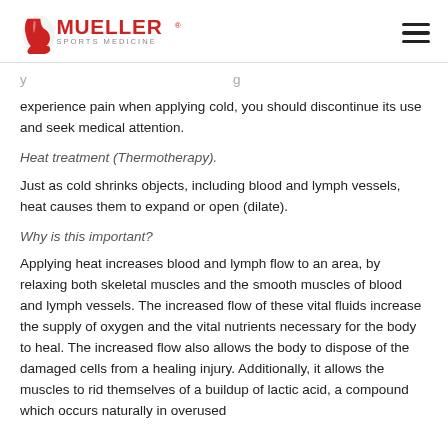Mueller Sports Medicine
experience pain when applying cold, you should discontinue its use and seek medical attention.
Heat treatment (Thermotherapy).
Just as cold shrinks objects, including blood and lymph vessels, heat causes them to expand or open (dilate).
Why is this important?
Applying heat increases blood and lymph flow to an area, by relaxing both skeletal muscles and the smooth muscles of blood and lymph vessels. The increased flow of these vital fluids increase the supply of oxygen and the vital nutrients necessary for the body to heal. The increased flow also allows the body to dispose of the damaged cells from a healing injury. Additionally, it allows the muscles to rid themselves of a buildup of lactic acid, a compound which occurs naturally in overused